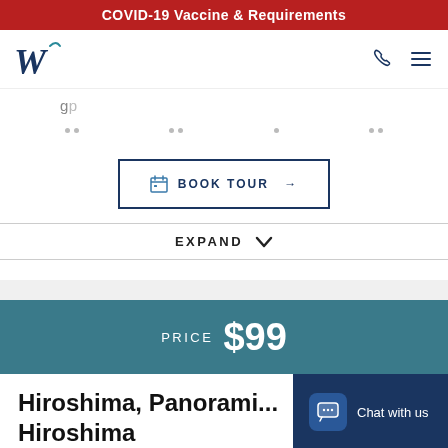COVID-19 Vaccine & Requirements
[Figure (logo): W cursive logo for Worldwide travel company, dark navy blue]
BOOK TOUR →
EXPAND
PRICE $99
Hiroshima, Panorami... Hiroshima
Chat with us